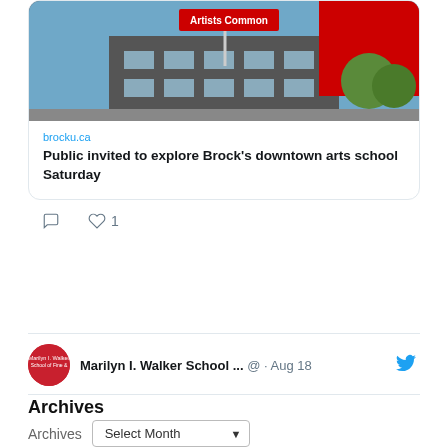[Figure (screenshot): Tweet card showing building photo of Artists Common with brocku.ca link and headline 'Public invited to explore Brock's downtown arts school Saturday']
brocku.ca
Public invited to explore Brock's downtown arts school Saturday
♡ 1
[Figure (screenshot): Twitter profile row: Marilyn I. Walker School ... @ · Aug 18 with Twitter bird icon and avatar]
Archives
Archives  Select Month
Connect with us
[Figure (infographic): Social media icons: Facebook (blue), Twitter (blue), Instagram (gradient purple/pink), YouTube (red)]